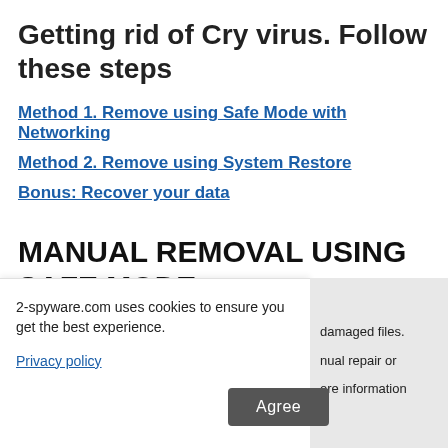Getting rid of Cry virus. Follow these steps
Method 1. Remove using Safe Mode with Networking
Method 2. Remove using System Restore
Bonus: Recover your data
MANUAL REMOVAL USING SAFE MODE
Special Offer
2-spyware.com uses cookies to ensure you get the best experience.
Privacy policy
Agree
damaged files. nual repair or ore information